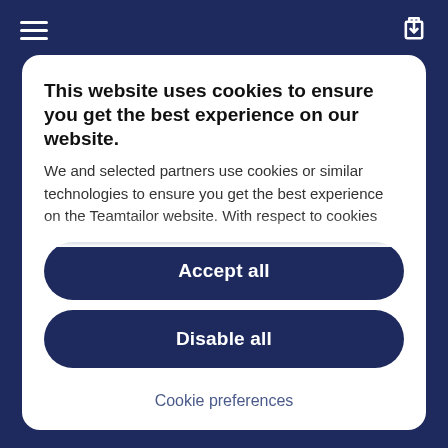[Figure (screenshot): Mobile browser top navigation bar with hamburger menu icon on left and share icon on right, dark navy background]
This website uses cookies to ensure you get the best experience on our website.
We and selected partners use cookies or similar technologies to ensure you get the best experience on the Teamtailor website. With respect to cookies that are not considered
Accept all
Disable all
Cookie preferences